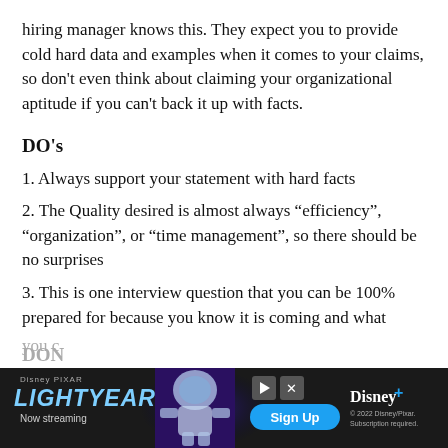hiring manager knows this. They expect you to provide cold hard data and examples when it comes to your claims, so don't even think about claiming your organizational aptitude if you can't back it up with facts.
DO's
1. Always support your statement with hard facts
2. The Quality desired is almost always “efficiency”, “organization”, or “time management”, so there should be no surprises
3. This is one interview question that you can be 100% prepared for because you know it is coming and what you c[an respond to confirm the...
DON
[Figure (other): Disney Pixar Lightyear advertisement banner with Buzz Lightyear character, Disney+ logo, Sign Up button, Now streaming text]